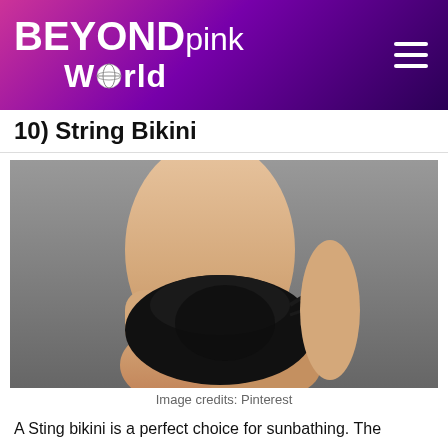BEYONDpink World
10) String Bikini
[Figure (photo): A woman's torso wearing a black lace string bikini bottom against a grey background]
Image credits: Pinterest
A Sting bikini is a perfect choice for sunbathing. The